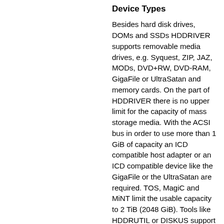Device Types
Besides hard disk drives, DOMs and SSDs HDDRIVER supports removable media drives, e.g. Syquest, ZIP, JAZ, MODs, DVD+RW, DVD-RAM, GigaFile or UltraSatan and memory cards. On the part of HDDRIVER there is no upper limit for the capacity of mass storage media. With the ACSI bus in order to use more than 1 GiB of capacity an ICD compatible host adapter or an ICD compatible device like the GigaFile or the UltraSatan are required. TOS, MagiC and MiNT limit the usable capacity to 2 TiB (2048 GiB). Tools like HDDRUTIL or DISKUS support 64 bit sector numbers and thus can access